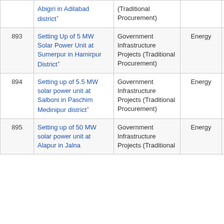| # | Project Name | Type | Sector | Sub-sector |  |
| --- | --- | --- | --- | --- | --- |
|  | Abigiri in Adilabad district* | (Traditional Procurement) |  |  |  |
| 893 | Setting Up of 5 MW Solar Power Unit at Sumerpur in Hamirpur District* | Government Infrastructure Projects (Traditional Procurement) | Energy | Renewable energy (grid) | U P |
| 894 | Setting up of 5.5 MW solar power unit at Salboni in Paschim Medinipur district* | Government Infrastructure Projects (Traditional Procurement) | Energy | Renewable energy (grid) | W B |
| 895 | Setting up of 50 MW solar power unit at Alapur in Jalna | Government Infrastructure Projects (Traditional | Energy | Renewable energy (grid) | M |